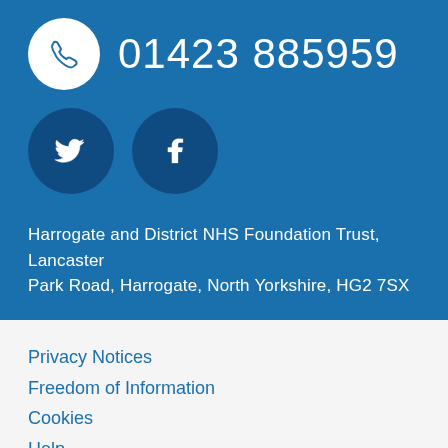[Figure (infographic): Blue background section with phone icon in white circle, phone number 01423 885959, Twitter and Facebook social media icons in dark blue circles, and organisation address text]
Harrogate and District NHS Foundation Trust, Lancaster Park Road, Harrogate, North Yorkshire, HG2 7SX
Privacy Notices
Freedom of Information
Cookies
Help